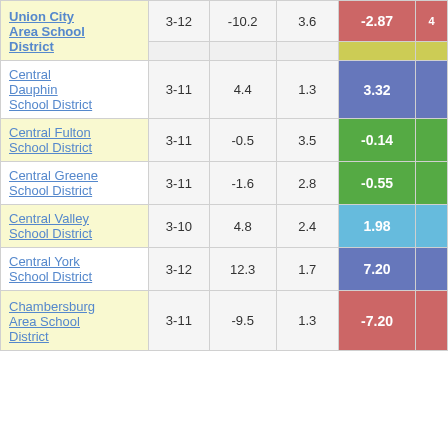| District | Grades | Col3 | Col4 | Score | Extra |
| --- | --- | --- | --- | --- | --- |
| Union City Area School District | 3-12 | -10.2 | 3.6 | -2.87 | 4 |
| School District |  |  |  |  |  |
| Central Dauphin School District | 3-11 | 4.4 | 1.3 | 3.32 |  |
| Central Fulton School District | 3-11 | -0.5 | 3.5 | -0.14 |  |
| Central Greene School District | 3-11 | -1.6 | 2.8 | -0.55 |  |
| Central Valley School District | 3-10 | 4.8 | 2.4 | 1.98 |  |
| Central York School District | 3-12 | 12.3 | 1.7 | 7.20 |  |
| Chambersburg Area School District | 3-11 | -9.5 | 1.3 | -7.20 |  |